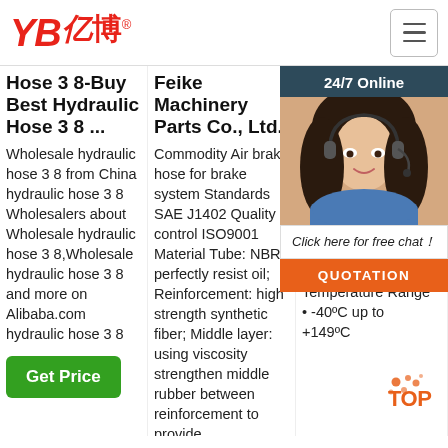[Figure (logo): YB亿博 company logo in red italic font with registered trademark symbol]
Hose 3 8-Buy Best Hydraulic Hose 3 8 ...
Wholesale hydraulic hose 3 8 from China hydraulic hose 3 8 Wholesalers about Wholesale hydraulic hose 3 8,Wholesale hydraulic hose 3 8 and more on Alibaba.com hydraulic hose 3 8
Get Price
Feike Machinery Parts Co., Ltd.
Commodity Air brake hose for brake system Standards SAE J1402 Quality control ISO9001 Material Tube: NBR, perfectly resist oil; Reinforcement: high strength synthetic fiber; Middle layer: using viscosity strengthen middle rubber between reinforcement to provide
HOSE - PIP... AU...
Sea... CPI... Oil ... Rei... text... one... tens... Out... syn... with blue polyester textile outer braid resistant to abrasion/oils/ozone and weathering. Temperature Range • -40ºC up to +149ºC
[Figure (photo): 24/7 Online customer service representative - woman wearing headset, smiling, with chat overlay showing 'Click here for free chat!' and QUOTATION button]